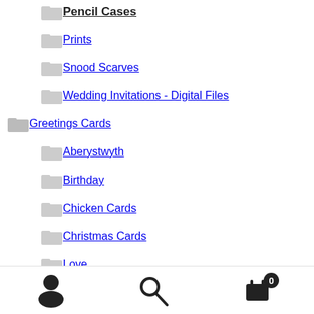Pencil Cases
Prints
Snood Scarves
Wedding Invitations - Digital Files
Greetings Cards
Aberystwyth
Birthday
Chicken Cards
Christmas Cards
Love
Norwich Greetings Cards
Welsh Language Cards